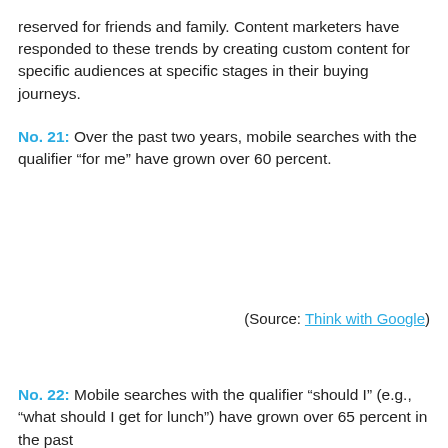reserved for friends and family. Content marketers have responded to these trends by creating custom content for specific audiences at specific stages in their buying journeys.
No. 21: Over the past two years, mobile searches with the qualifier “for me” have grown over 60 percent.
(Source: Think with Google)
No. 22: Mobile searches with the qualifier “should I” (e.g., “what should I get for lunch”) have grown over 65 percent in the past